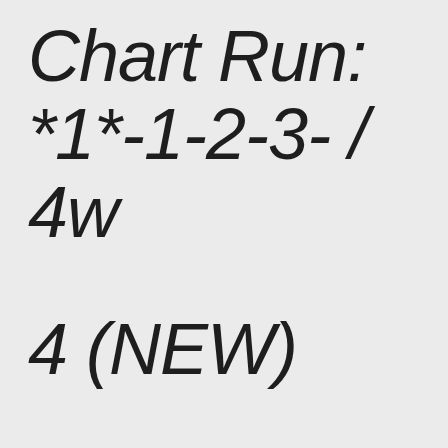Chart Run: *1*-1-2-3- / 4w
4 (NEW)
Ch...li...